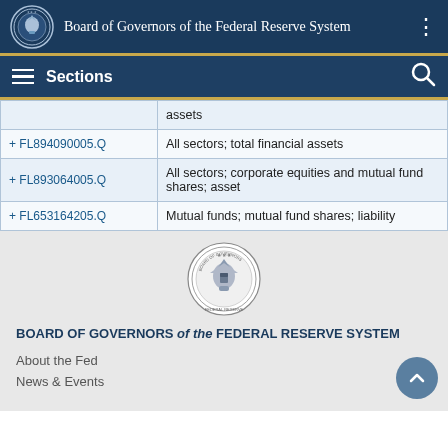Board of Governors of the Federal Reserve System
Sections
| Code | Description |
| --- | --- |
|  | assets |
| + FL894090005.Q | All sectors; total financial assets |
| + FL893064005.Q | All sectors; corporate equities and mutual fund shares; asset |
| + FL653164205.Q | Mutual funds; mutual fund shares; liability |
[Figure (logo): Federal Reserve seal / logo centered]
BOARD OF GOVERNORS of the FEDERAL RESERVE SYSTEM
About the Fed
News & Events